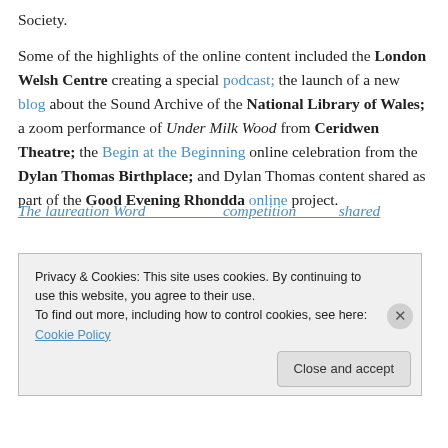Society.
Some of the highlights of the online content included the London Welsh Centre creating a special podcast; the launch of a new blog about the Sound Archive of the National Library of Wales; a zoom performance of Under Milk Wood from Ceridwen Theatre; the Begin at the Beginning online celebration from the Dylan Thomas Birthplace; and Dylan Thomas content shared as part of the Good Evening Rhondda online project.
Privacy & Cookies: This site uses cookies. By continuing to use this website, you agree to their use. To find out more, including how to control cookies, see here: Cookie Policy